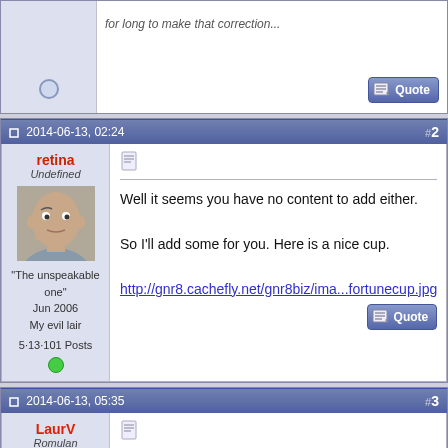for long to make that correction...
#2
2014-06-13, 02:24
retina
Undefined
"The unspeakable one"
Jun 2006
My evil lair
5,13·101 Posts
Well it seems you have no content to add either.

So I'll add some for you. Here is a nice cup.

http://gnr8.cachefly.net/gnr8biz/ima...fortunecup.jpg
#3
2014-06-13, 05:35
LaurV
Romulan Interpreter
Quote: